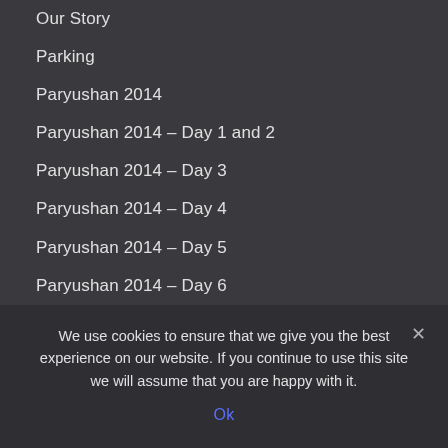Our Story
Parking
Paryushan 2014
Paryushan 2014 – Day 1 and 2
Paryushan 2014 – Day 3
Paryushan 2014 – Day 4
Paryushan 2014 – Day 5
Paryushan 2014 – Day 6
Paryushan 2014 – Day 7
Paryushan 2014 – Day 8 to Day 10
Past Events
Pathshala
We use cookies to ensure that we give you the best experience on our website. If you continue to use this site we will assume that you are happy with it.
Ok